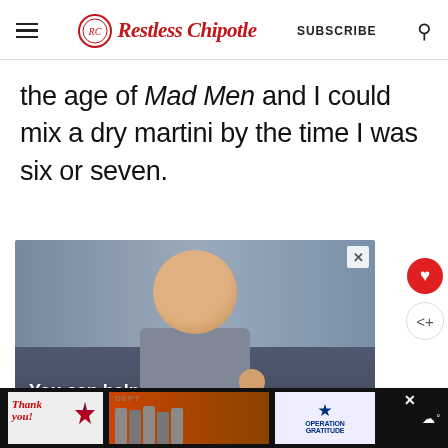Restless Chipotle — SUBSCRIBE
the age of Mad Men and I could mix a dry martini by the time I was six or seven.
[Figure (photo): Advertisement showing a young child with hand near mouth. Text overlay reads 'You can help hungry kids.']
[Figure (photo): Bottom banner advertisement with 'Thank you!' text, firefighters photo, and Operation Gratitude logo.]